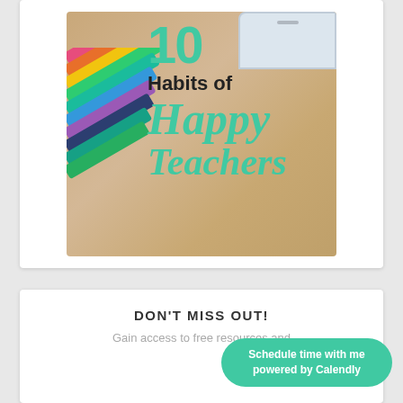[Figure (illustration): Image showing colored pencils on a wooden surface with a device/tablet in the top right corner. Text overlay reads '10 Habits of Happy Teachers' in teal/mint script and black sans-serif fonts.]
DON'T MISS OUT!
Gain access to free resources and
Schedule time with me powered by Calendly